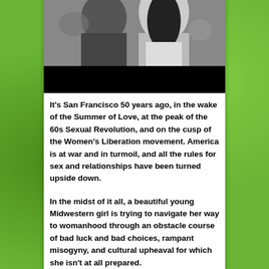[Figure (photo): Black and white photograph of people, partially visible at top of page, showing figures with long hair against a dark background.]
It's San Francisco 50 years ago, in the wake of the Summer of Love, at the peak of the 60s Sexual Revolution, and on the cusp of the Women's Liberation movement. America is at war and in turmoil, and all the rules for sex and relationships have been turned upside down.
In the midst of it all, a beautiful young Midwestern girl is trying to navigate her way to womanhood through an obstacle course of bad luck and bad choices, rampant misogyny, and cultural upheaval for which she isn't at all prepared.
The lessons learned are sometimes heart-breaking